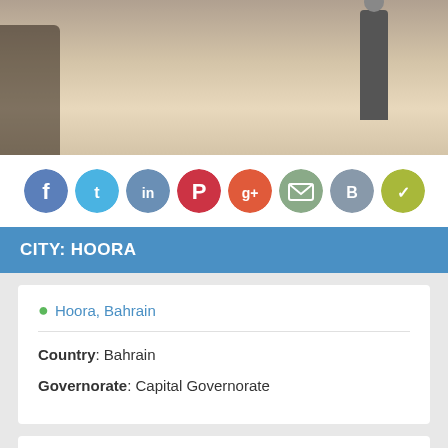[Figure (photo): A photo strip showing people in an indoor/outdoor setting with muted warm tones]
[Figure (infographic): Social media sharing icons row: Facebook (blue), Twitter (light blue), LinkedIn (blue), Pinterest (red), Google+ (orange-red), Email (green-grey), Bloglovin (grey), Klout (yellow-green)]
CITY: HOORA
Hoora, Bahrain
Country: Bahrain
Governorate: Capital Governorate
Hoora Food Guide: 10 Must-Eat Restaurants & Street Food Stalls in Hoora